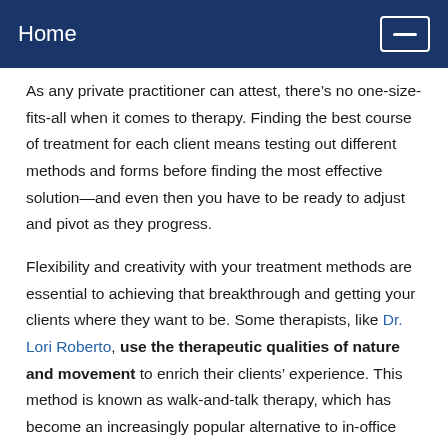Home
As any private practitioner can attest, there’s no one-size-fits-all when it comes to therapy. Finding the best course of treatment for each client means testing out different methods and forms before finding the most effective solution—and even then you have to be ready to adjust and pivot as they progress.
Flexibility and creativity with your treatment methods are essential to achieving that breakthrough and getting your clients where they want to be. Some therapists, like Dr. Lori Roberto, use the therapeutic qualities of nature and movement to enrich their clients’ experience. This method is known as walk-and-talk therapy, which has become an increasingly popular alternative to in-office sessions and even telehealth visits—especially as many practitioners are cautiously considering a return to the office.
What’s walk-and-talk